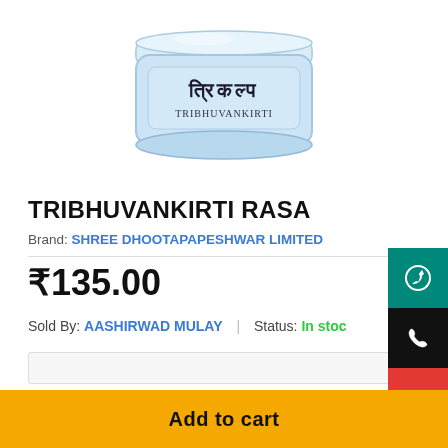[Figure (photo): Product image of a blue cylindrical jar/container with Devanagari script label, white lid, for Tribhuvankirti Rasa Ayurvedic medicine]
TRIBHUVANKIRTI RASA
Brand: SHREE DHOOTAPAPESHWAR LIMITED
₹135.00
Sold By: AASHIRWAD MULAY | Status: In stock
Add to cart